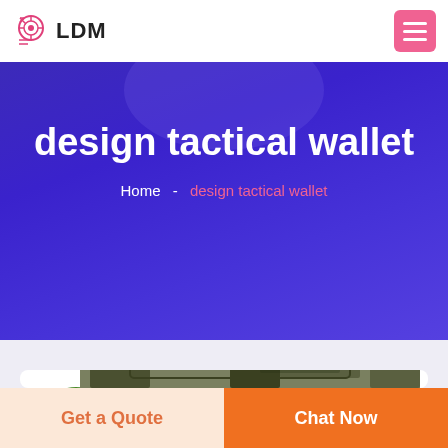LDM
design tactical wallet
Home - design tactical wallet
[Figure (logo): DEEKON brand logo with circular crosshair design in green and a D in red center, with DEEKON text below in red, and a camouflage tactical wallet product image]
Get a Quote
Chat Now